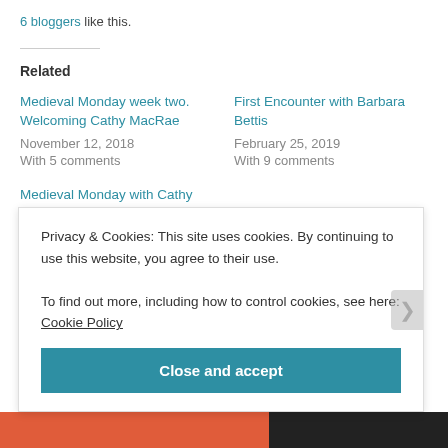6 bloggers like this.
Related
Medieval Monday week two. Welcoming Cathy MacRae
November 12, 2018
With 5 comments
First Encounter with Barbara Bettis
February 25, 2019
With 9 comments
Medieval Monday with Cathy MacRae
February 12, 2018
Privacy & Cookies: This site uses cookies. By continuing to use this website, you agree to their use.
To find out more, including how to control cookies, see here: Cookie Policy
Close and accept